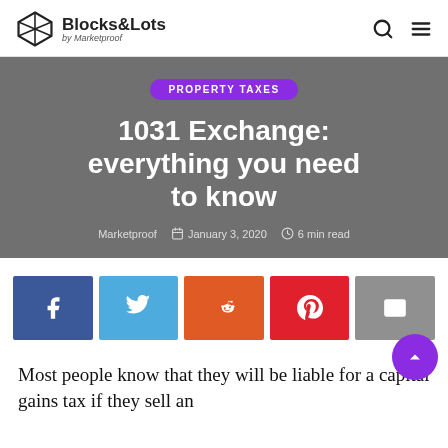Blocks&Lots by Marketproof
[Figure (illustration): Article hero banner with category tag 'PROPERTY TAXES', title '1031 Exchange: everything you need to know', and meta info 'Marketproof  January 3, 2020  6 min read' on a dark gray background]
[Figure (infographic): Social share buttons row: Facebook (dark blue), Twitter (light blue), Reddit (orange-red), Pinterest (red), Email (gray)]
Most people know that they will be liable for a capital gains tax if they sell an